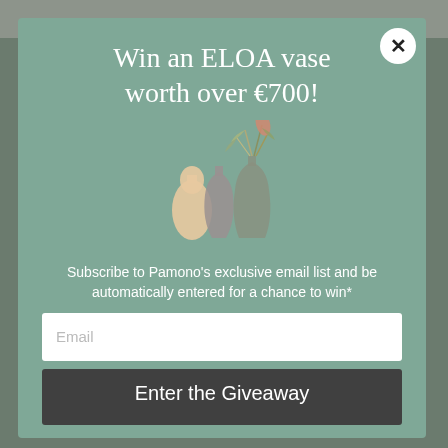Win an ELOA vase worth over €700!
[Figure (illustration): Three decorative glass vases of varying sizes and shapes, one with dried foliage arrangement, in muted earth tones]
Subscribe to Pamono's exclusive email list and be automatically entered for a chance to win*
Email
Enter the Giveaway